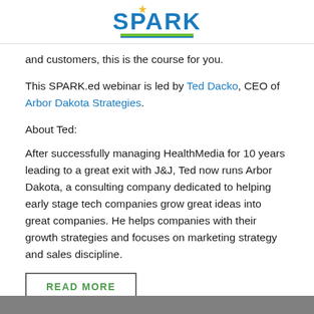SPARK
and customers, this is the course for you.
This SPARK.ed webinar is led by Ted Dacko, CEO of Arbor Dakota Strategies.
About Ted:
After successfully managing HealthMedia for 10 years leading to a great exit with J&J, Ted now runs Arbor Dakota, a consulting company dedicated to helping early stage tech companies grow great ideas into great companies. He helps companies with their growth strategies and focuses on marketing strategy and sales discipline.
READ MORE